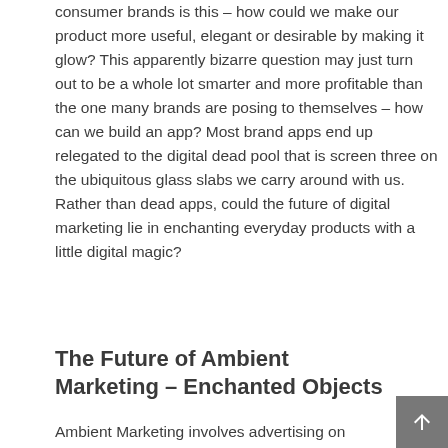consumer brands is this – how could we make our product more useful, elegant or desirable by making it glow? This apparently bizarre question may just turn out to be a whole lot smarter and more profitable than the one many brands are posing to themselves – how can we build an app? Most brand apps end up relegated to the digital dead pool that is screen three on the ubiquitous glass slabs we carry around with us. Rather than dead apps, could the future of digital marketing lie in enchanting everyday products with a little digital magic?
The Future of Ambient Marketing – Enchanted Objects
Ambient Marketing involves advertising on